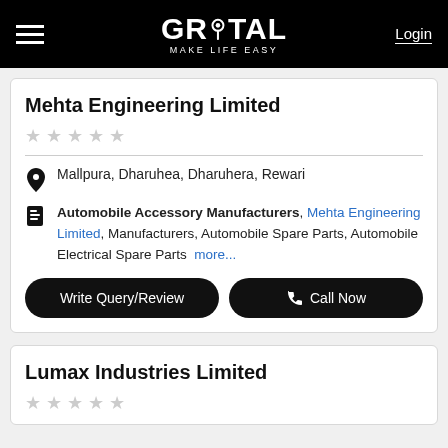GROTAL - MAKE LIFE EASY | Login
Mehta Engineering Limited
Mallpura, Dharuhea, Dharuhera, Rewari
Automobile Accessory Manufacturers, Mehta Engineering Limited, Manufacturers, Automobile Spare Parts, Automobile Electrical Spare Parts more...
Write Query/Review | Call Now
Lumax Industries Limited